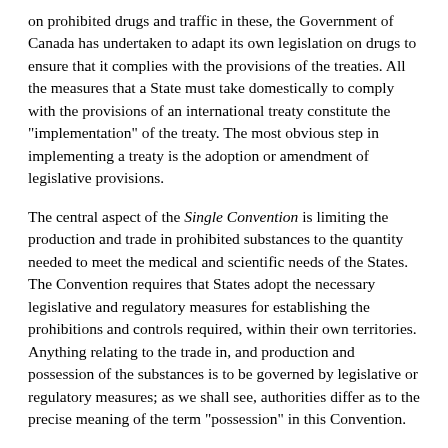on prohibited drugs and traffic in these, the Government of Canada has undertaken to adapt its own legislation on drugs to ensure that it complies with the provisions of the treaties. All the measures that a State must take domestically to comply with the provisions of an international treaty constitute the "implementation" of the treaty. The most obvious step in implementing a treaty is the adoption or amendment of legislative provisions.
The central aspect of the Single Convention is limiting the production and trade in prohibited substances to the quantity needed to meet the medical and scientific needs of the States. The Convention requires that States adopt the necessary legislative and regulatory measures for establishing the prohibitions and controls required, within their own territories. Anything relating to the trade in, and production and possession of the substances is to be governed by legislative or regulatory measures; as we shall see, authorities differ as to the precise meaning of the term "possession" in this Convention.
According to Dupras, the measures prescribed by the Single Convention are the minimum measures that the States must adopt; there is nothing to prevent them from adopting more strict or severe measures of control. Conversely, there is nothing to bind countries such as Canada to the more stringent